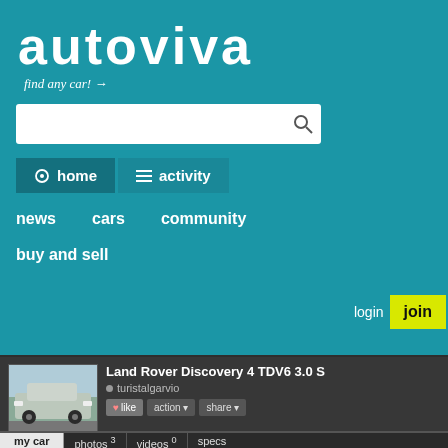[Figure (screenshot): AutoViva website screenshot showing homepage with logo, search bar, navigation, and Land Rover Discovery 4 TDV6 3.0 S car listing]
autoviva
find any car! →
home
activity
news   cars   community
buy and sell
login
join
Land Rover Discovery 4 TDV6 3.0 S
turistalgarvio
like   action   share
my car   photos 3   videos 0   specs
gears
all updates
just